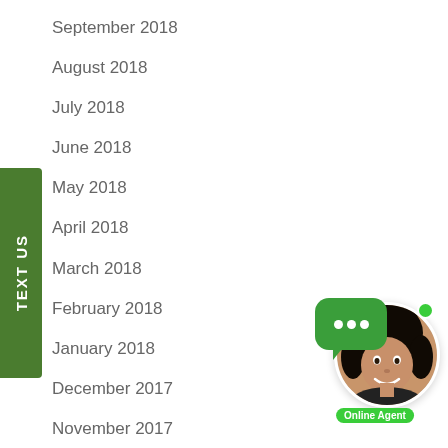September 2018
August 2018
July 2018
June 2018
May 2018
April 2018
March 2018
February 2018
January 2018
December 2017
November 2017
October 2017
September 2017
August 2017
[Figure (illustration): Online chat widget with green speech bubble containing three dots, a circular agent photo, an online indicator dot, and an 'Online Agent' label.]